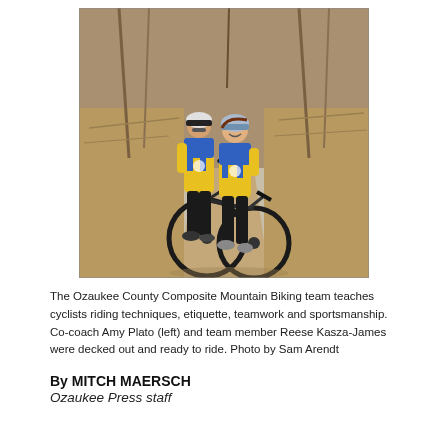[Figure (photo): Two cyclists wearing matching yellow, blue, and green cycling jerseys and helmets pose on a mountain bike on a dirt trail surrounded by dry brush and bare trees. The person on the left (Co-coach Amy Plato) stands behind the one sitting on the bike (team member Reese Kasza-James).]
The Ozaukee County Composite Mountain Biking team teaches cyclists riding techniques, etiquette, teamwork and sportsmanship. Co-coach Amy Plato (left) and team member Reese Kasza-James were decked out and ready to ride. Photo by Sam Arendt
By MITCH MAERSCH
Ozaukee Press staff